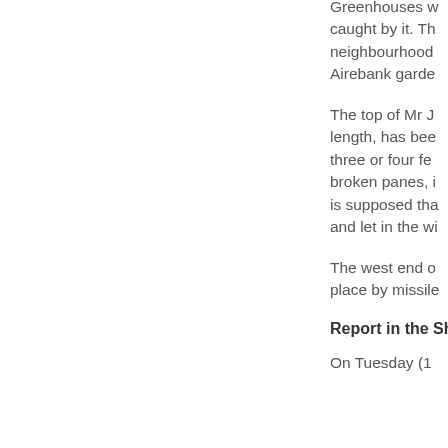Greenhouses w... caught by it. Th... neighbourhood... Airebank garde...
The top of Mr J... length, has bee... three or four fe... broken panes, i... is supposed tha... and let in the wi...
The west end o... place by missile...
Report in the Shipley...
On Tuesday (1...